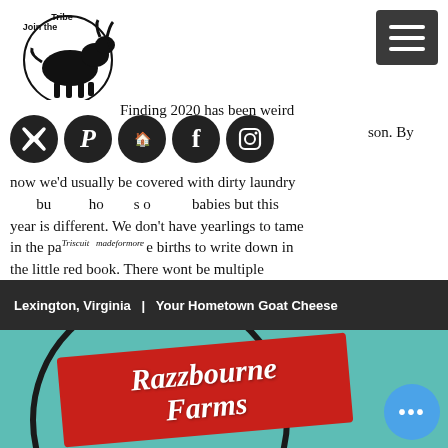[Figure (logo): Razzbourne Farms goat logo with text 'Join the Tribe' at top left]
[Figure (infographic): Dark square hamburger/menu button with three white horizontal lines]
[Figure (infographic): Row of five circular social media icons (Twitter/X, Pinterest, Facebook, Instagram, and one more) in black circles]
Finding 2020 has been weird season. By now we'd usually be covered with dirty laundry bu hors of babies but this year is different. We don't have yearlings to tame in the parto: births to write down in the little red book. There wont be multiple kidding pe sleepless (almost) nights. BUT the milk flow is flowing and flowing more than ever. Realizing the dairy needed to become more
Lexington, Virginia  |  Your Hometown Goat Cheese
erd and onal, to flu for s
[Figure (logo): Razzbourne Farms red banner logo with white italic text on teal circular background]
[Figure (infographic): Blue circular chat/messenger button with three dots]